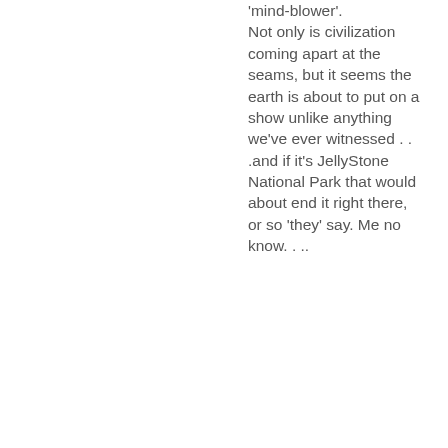'mind-blower'. Not only is civilization coming apart at the seams, but it seems the earth is about to put on a show unlike anything we've ever witnessed . . .and if it's JellyStone National Park that would about end it right there, or so 'they' say. Me no know. . ..